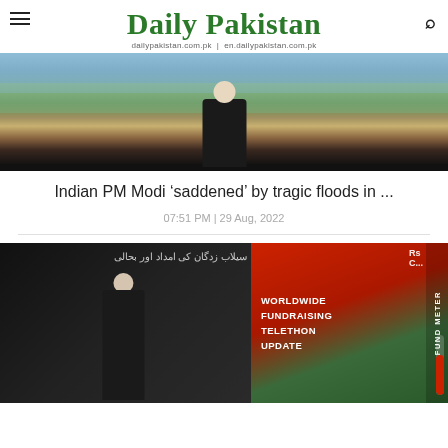Daily Pakistan | dailypakistan.com.pk | en.dailypakistan.com.pk
[Figure (photo): Aerial view of flood-affected area with a person in foreground with hands pressed together in prayer gesture, wearing dark vest]
Indian PM Modi ‘saddened’ by tragic floods in ...
07:51 PM | 29 Aug, 2022
[Figure (photo): A person on stage at a worldwide fundraising telethon event, with Urdu text on screen and a fund meter graphic showing fundraising progress]